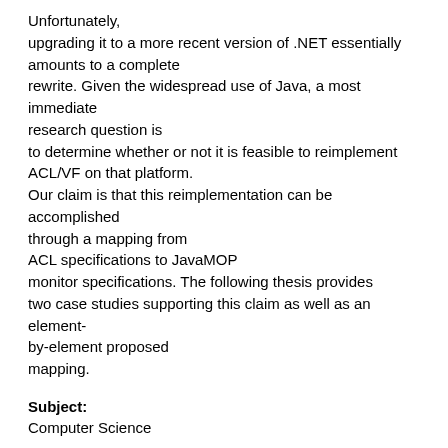Unfortunately, upgrading it to a more recent version of .NET essentially amounts to a complete rewrite. Given the widespread use of Java, a most immediate research question is to determine whether or not it is feasible to reimplement ACL/VF on that platform. Our claim is that this reimplementation can be accomplished through a mapping from ACL specifications to JavaMOP monitor specifications. The following thesis provides two case studies supporting this claim as well as an element-by-element proposed mapping.
Subject:
Computer Science
Language:
English
Publisher: